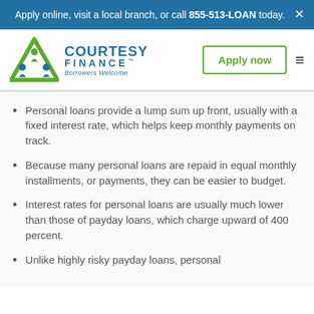Apply online, visit a local branch, or call 855-513-LOAN today.
[Figure (logo): Courtesy Finance logo — green triangle with people figures, blue text reading COURTESY FINANCE™, tagline Borrowers Welcome]
Personal loans provide a lump sum up front, usually with a fixed interest rate, which helps keep monthly payments on track.
Because many personal loans are repaid in equal monthly installments, or payments, they can be easier to budget.
Interest rates for personal loans are usually much lower than those of payday loans, which charge upward of 400 percent.
Unlike highly risky payday loans, personal